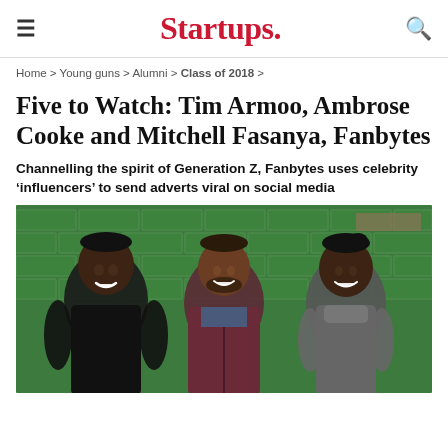Startups.
Home > Young guns > Alumni > Class of 2018 >
Five to Watch: Tim Armoo, Ambrose Cooke and Mitchell Fasanya, Fanbytes
Channelling the spirit of Generation Z, Fanbytes uses celebrity ‘influencers’ to send adverts viral on social media
[Figure (photo): Three young men smiling in front of a green brick wall. From left to right: a man in a black t-shirt, a man in a maroon hoodie, and a man in a grey turtleneck.]